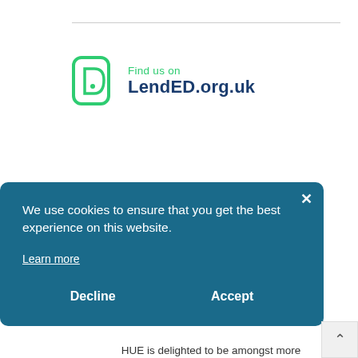[Figure (logo): LendED.org.uk logo with green stylized D icon and text 'Find us on LendED.org.uk']
We use cookies to ensure that you get the best experience on this website.

Learn more

Decline   Accept
HUE is delighted to be amongst more